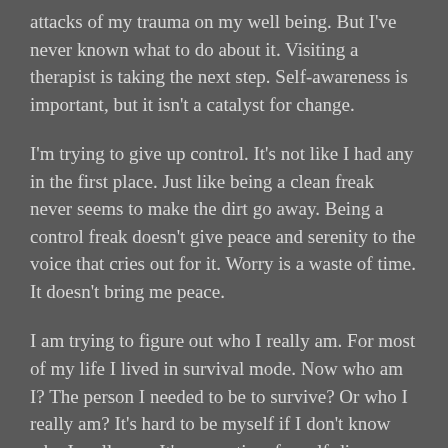attacks of my trauma on my well being. But I've never known what to do about it. Visiting a therapist is taking the next step. Self-awareness is important, but it isn't a catalyst for change.
I'm trying to give up control. It's not like I had any in the first place. Just like being a clean freak never seems to make the dirt go away. Being a control freak doesn't give peace and serenity to the voice that cries out for it. Worry is a waste of time. It doesn't bring me peace.
I am trying to figure out who I really am. For most of my life I lived in survival mode. Now who am I? The person I needed to be to survive? Or who I really am? It's hard to be myself if I don't know who I really am. It's a new time for self-discovery and growth. I want to fully experience my purpose in life.